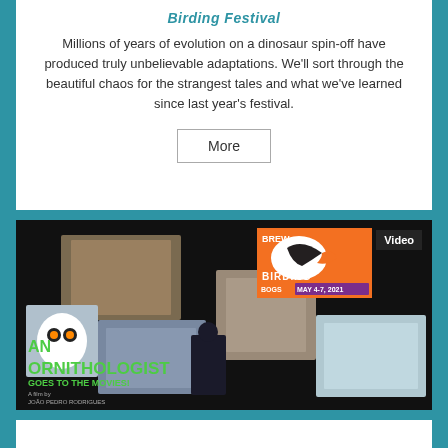Birding Festival
Millions of years of evolution on a dinosaur spin-off have produced truly unbelievable adaptations. We'll sort through the beautiful chaos for the strangest tales and what we've learned since last year's festival.
More
[Figure (photo): Collage image for Brew Birding Festival May 4-7, 2021 with 'An Ornithologist Goes to the Movies' film title overlay and various birding-related photos. Video badge in top right corner.]